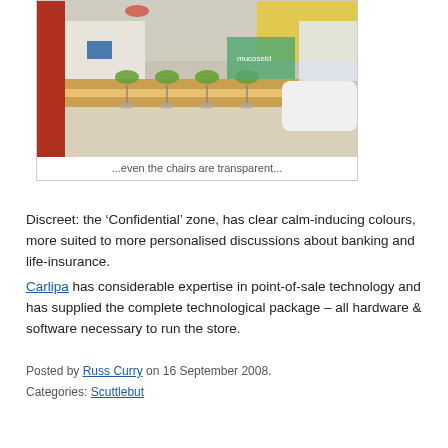[Figure (photo): Interior of a modern bank branch showing a long wooden counter with green transparent chairs on bar stools and a white curved service desk. Yellow ceiling accents and display boards visible in background.]
...even the chairs are transparent...
Discreet: the ‘Confidential’ zone, has clear calm-inducing colours, more suited to more personalised discussions about banking and life-insurance.
Carlipa has considerable expertise in point-of-sale technology and has supplied the complete technological package – all hardware & software necessary to run the store.
Posted by Russ Curry on 16 September 2008.
Categories: Scuttlebut